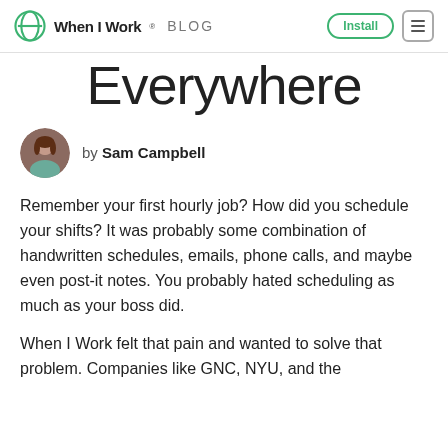When I Work BLOG | Install
Everywhere
by Sam Campbell
Remember your first hourly job? How did you schedule your shifts? It was probably some combination of handwritten schedules, emails, phone calls, and maybe even post-it notes. You probably hated scheduling as much as your boss did.
When I Work felt that pain and wanted to solve that problem. Companies like GNC, NYU, and the